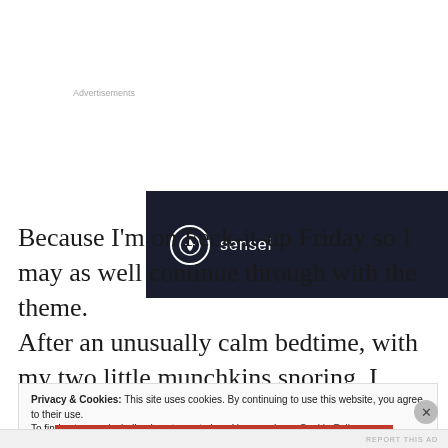[Figure (logo): Sensei brand advertisement banner with dark navy background showing a circular tree logo and the word 'sensei' in white text]
Because I'm on Feck-it-up Friday so I may as well continue through with the theme. After an unusually calm bedtime, with my two little munchkins snoring, I needed food.
Privacy & Cookies: This site uses cookies. By continuing to use this website, you agree to their use. To find out more, including how to control cookies, see here: Cookie Policy
Close and accept